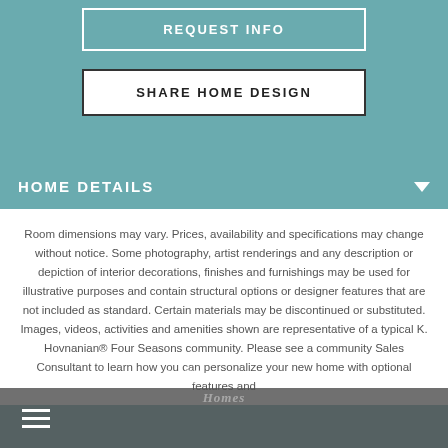[Figure (screenshot): Button labeled REQUEST INFO with white border on teal background]
[Figure (screenshot): Button labeled SHARE HOME DESIGN with black border on white background]
HOME DETAILS
Room dimensions may vary. Prices, availability and specifications may change without notice. Some photography, artist renderings and any description or depiction of interior decorations, finishes and furnishings may be used for illustrative purposes and contain structural options or designer features that are not included as standard. Certain materials may be discontinued or substituted. Images, videos, activities and amenities shown are representative of a typical K. Hovnanian® Four Seasons community. Please see a community Sales Consultant to learn how you can personalize your new home with optional features and
[Figure (logo): K. Hovnanian Homes watermark logo in overlay footer]